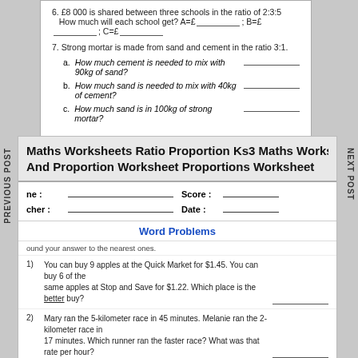6. £8 000 is shared between three schools in the ratio of 2:3:5 How much will each school get? A=£_______; B=£_______; C=£_______
7. Strong mortar is made from sand and cement in the ratio 3:1. a. How much cement is needed to mix with 90kg of sand? b. How much sand is needed to mix with 40kg of cement? c. How much sand is in 100kg of strong mortar?
Maths Worksheets Ratio Proportion Ks3 Maths Worksheets And Proportion Worksheet Proportions Worksheet
Name : Score : Teacher : Date :
Word Problems
Round your answer to the nearest ones.
1) You can buy 9 apples at the Quick Market for $1.45. You can buy 6 of the same apples at Stop and Save for $1.22. Which place is the better buy?
2) Mary ran the 5-kilometer race in 45 minutes. Melanie ran the 2-kilometer race in 17 minutes. Which runner ran the faster race? What was that rate per hour?
3) A ferris wheel can accommodate 54 people in 24 minutes. How many people